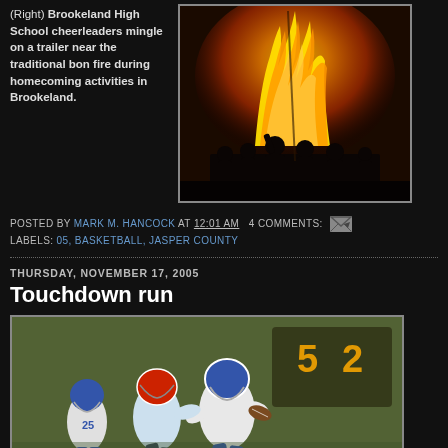(Right) Brookeland High School cheerleaders mingle on a trailer near the traditional bon fire during homecoming activities in Brookeland.
[Figure (photo): Silhouette of people on a trailer in front of a large bonfire at night during Brookeland homecoming]
POSTED BY MARK M. HANCOCK AT 12:01 AM  4 COMMENTS:
LABELS: 05, BASKETBALL, JASPER COUNTY
THURSDAY, NOVEMBER 17, 2005
Touchdown run
[Figure (photo): Football player in blue helmet and white uniform carrying the ball, pursued by a defender in red helmet during a game]